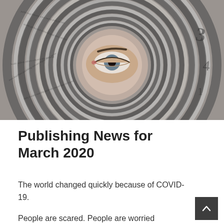[Figure (photo): Black and white fisheye photo of rolled and spiraling newspaper pages forming concentric circles, with a human eye visible looking through a gap in the center of the rolled newspapers.]
Publishing News for March 2020
The world changed quickly because of COVID-19.
People are scared. People are worried